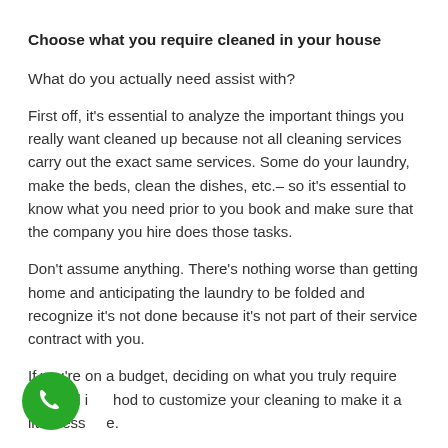Choose what you require cleaned in your house
What do you actually need assist with?
First off, it's essential to analyze the important things you really want cleaned up because not all cleaning services carry out the exact same services. Some do your laundry, make the beds, clean the dishes, etc.– so it's essential to know what you need prior to you book and make sure that the company you hire does those tasks.
Don't assume anything. There's nothing worse than getting home and anticipating the laundry to be folded and recognize it's not done because it's not part of their service contract with you.
If you're on a budget, deciding on what you truly require cleaned is a good method to customize your cleaning to make it a little less expensive.
[Figure (other): Green circular phone/call button in the bottom-left corner]